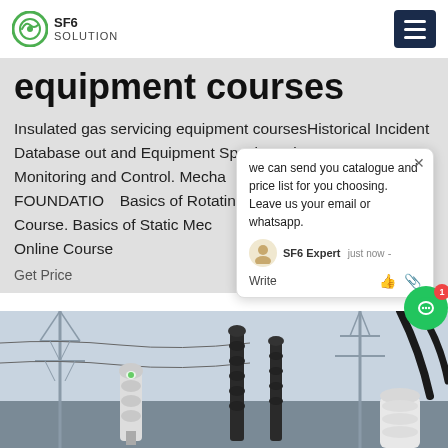SF6 SOLUTION
equipment courses
Insulated gas servicing equipment coursesHistorical Incident Database out and Equipment Spacing. Fire Protection. SIS, Monitoring and Control. Mechanical Engineering Courses. FOUNDATION Basics of Rotating Mechanical - Online Course. Basics of Static Mechanical Equipment - BSM - Online Course
Get Price
[Figure (photo): Electrical substation equipment including insulators and transmission line hardware against a sky background]